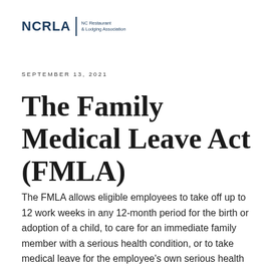[Figure (logo): NCRLA NC Restaurant & Lodging Association logo with text and vertical divider]
SEPTEMBER 13, 2021
The Family Medical Leave Act (FMLA)
The FMLA allows eligible employees to take off up to 12 work weeks in any 12-month period for the birth or adoption of a child, to care for an immediate family member with a serious health condition, or to take medical leave for the employee's own serious health condition.